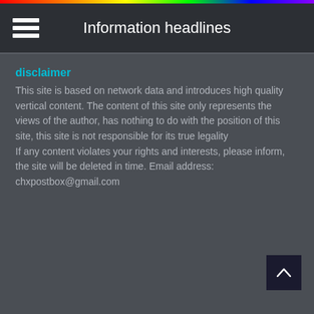Information headlines
disclaimer
This site is based on network data and introduces high quality vertical content. The content of this site only represents the views of the author, has nothing to do with the position of this site, this site is not responsible for its true legality
If any content violates your rights and interests, please inform, the site will be deleted in time. Email address: chxpostbox@gmail.com